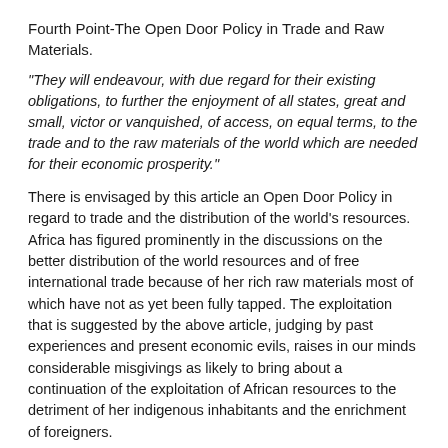Fourth Point-The Open Door Policy in Trade and Raw Materials.
"They will endeavour, with due regard for their existing obligations, to further the enjoyment of all states, great and small, victor or vanquished, of access, on equal terms, to the trade and to the raw materials of the world which are needed for their economic prosperity."
There is envisaged by this article an Open Door Policy in regard to trade and the distribution of the world's resources. Africa has figured prominently in the discussions on the better distribution of the world resources and of free international trade because of her rich raw materials most of which have not as yet been fully tapped. The exploitation that is suggested by the above article, judging by past experiences and present economic evils, raises in our minds considerable misgivings as likely to bring about a continuation of the exploitation of African resources to the detriment of her indigenous inhabitants and the enrichment of foreigners.
We are, however, in agreement with the necessity for the technical and economic utilisation of a country's resources with due regard for the human welfare and the economic